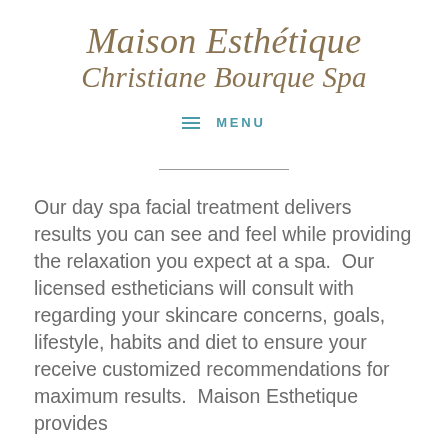Maison Esthétique Christiane Bourque Spa
MENU
Our day spa facial treatment delivers results you can see and feel while providing the relaxation you expect at a spa.  Our licensed estheticians will consult with regarding your skincare concerns, goals, lifestyle, habits and diet to ensure your receive customized recommendations for maximum results.  Maison Esthetique provides